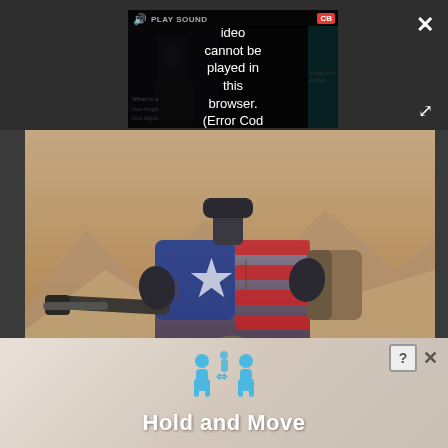[Figure (screenshot): Screenshot of a web browser showing a video player with an error message overlay saying 'Video cannot be played in this browser. (Error Cod' with a PLAY SOUND button and CB badge, overlaid on a dark UI. Below is an image of a large robotic mech/walker machine in a desert landscape with mountains, painted with American flag motifs. At the bottom is a 'Hold and Move' advertisement banner with blue human figure icons.]